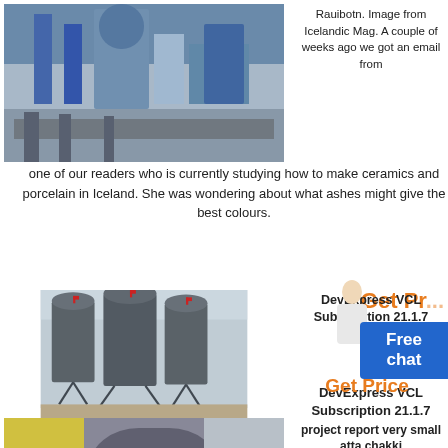[Figure (photo): Industrial equipment/machinery photo with blue and grey tones]
Rauibotn. Image from Icelandic Mag. A couple of weeks ago we got an email from one of our readers who is currently studying how to make ceramics and porcelain in Iceland. She was wondering about what ashes might give the best colours.
Get Pr...
[Figure (other): Person figure (customer service representative)]
Free chat
[Figure (photo): Large industrial silos/storage tanks on metal frames outdoors]
DevExpress VCL Subscription 21.1.7
Nov 29, 2021　　　　　　　　　　　　10　sns
Get Price
[Figure (photo): Industrial equipment with yellow crane and large gear/wheel visible]
project report very small atta chakki